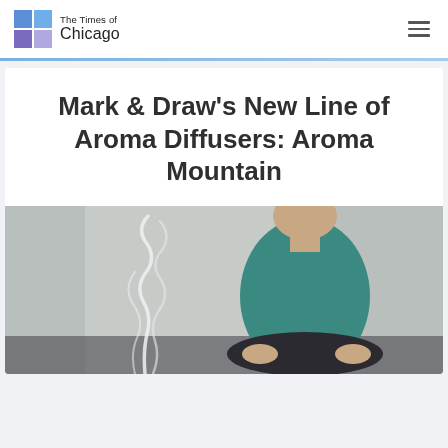The Times of Chicago
Mark & Draw's New Line of Aroma Diffusers: Aroma Mountain
[Figure (photo): A person sitting cross-legged in a meditation pose wearing a teal top, with white smoke rising from an incense or diffuser in the foreground, against a light curtained background.]